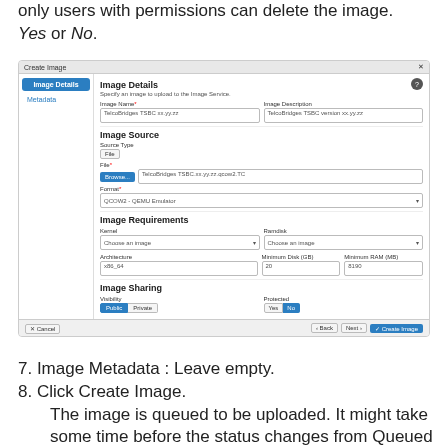only users with permissions can delete the image. Yes or No.
[Figure (screenshot): Create Image dialog showing Image Details tab with fields: Image Name (TelcoBridges TSBC xx.yy.zz), Image Description (TelcoBridges TSBC version xx.yy.zz), Image Source section with Source Type (File), File field with Browse button (TelcoBridges TSBC.xx.yy.zz.qcow2.TC), Format (QCOW2 - QEMU Emulator), Image Requirements section with Kernel (Choose an image), Ramdisk (Choose an image), Architecture (x86_64), Minimum Disk (GB): 20, Minimum RAM (MB): 8190, Image Sharing section with Visibility (Public/Private toggle) and Protected (Yes/No toggle). Footer with Cancel, Back, Next, and Create Image buttons.]
7. Image Metadata : Leave empty.
8. Click Create Image.
The image is queued to be uploaded. It might take some time before the status changes from Queued to